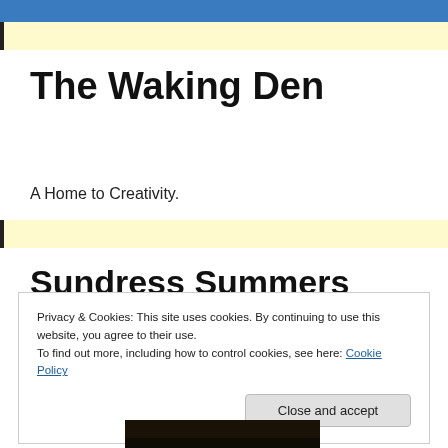The Waking Den
A Home to Creativity.
Sundress Summers
[Figure (photo): Outdoor photo showing tree silhouette against a bright, cloudy sky with warm tones]
Privacy & Cookies: This site uses cookies. By continuing to use this website, you agree to their use.
To find out more, including how to control cookies, see here: Cookie Policy
[Figure (photo): Bottom portion of another outdoor photo, dark tones]